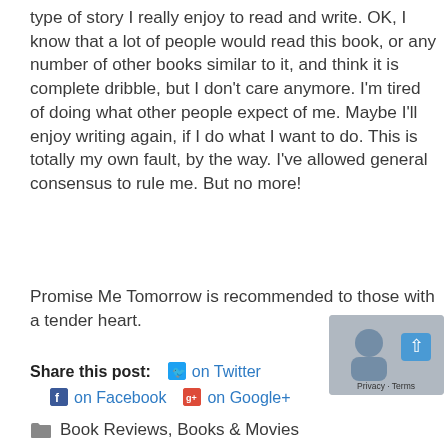type of story I really enjoy to read and write. OK, I know that a lot of people would read this book, or any number of other books similar to it, and think it is complete dribble, but I don't care anymore. I'm tired of doing what other people expect of me. Maybe I'll enjoy writing again, if I do what I want to do. This is totally my own fault, by the way. I've allowed general consensus to rule me. But no more!
Promise Me Tomorrow is recommended to those with a tender heart.
Share this post: on Twitter on Facebook on Google+
Book Reviews, Books & Movies